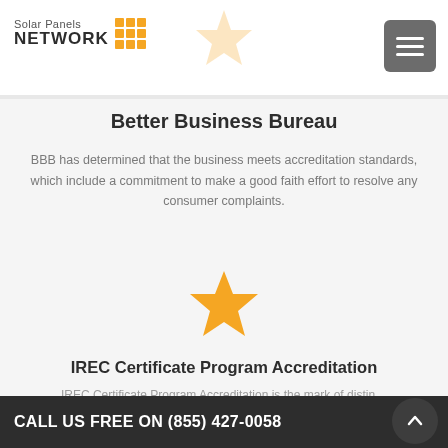[Figure (logo): Solar Panels Network logo with orange grid icon]
[Figure (illustration): Faded orange star icon at top center]
[Figure (illustration): Hamburger/menu button (gray square with three white lines)]
Better Business Bureau
BBB has determined that the business meets accreditation standards, which include a commitment to make a good faith effort to resolve any consumer complaints.
[Figure (illustration): Orange star icon at center of page]
IREC Certificate Program Accreditation
IREC Certificate Program Accreditation is the mark of distin…
CALL US FREE ON (855) 427-0058